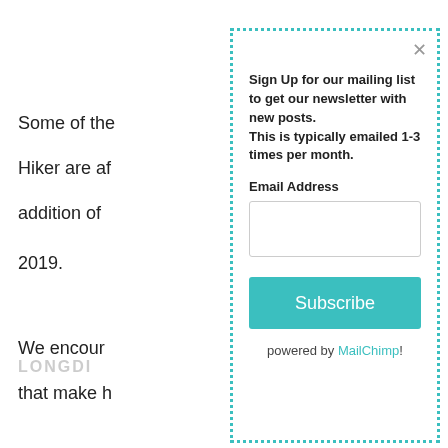Some of the
Hiker are af
addition of
2019.
We encour
that make h
LONGDI
Sign Up for our mailing list to get our newsletter with new posts.
This is typically emailed 1-3 times per month.
Email Address
Subscribe
powered by MailChimp!